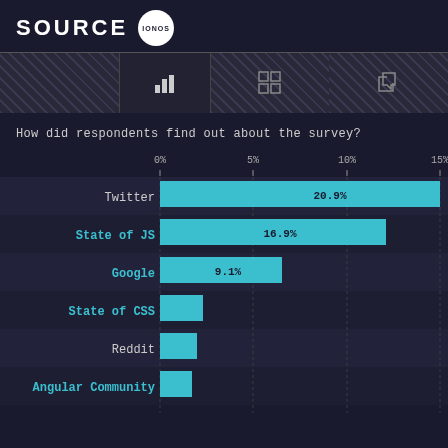SOURCE IONOS
How did respondents find out about the survey?
[Figure (bar-chart): How did respondents find out about the survey?]